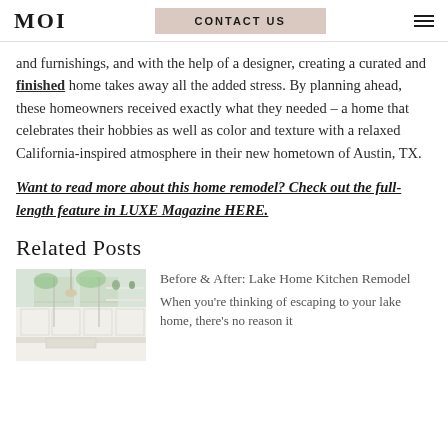MOI | CONTACT US
and furnishings, and with the help of a designer, creating a curated and finished home takes away all the added stress. By planning ahead, these homeowners received exactly what they needed – a home that celebrates their hobbies as well as color and texture with a relaxed California-inspired atmosphere in their new hometown of Austin, TX.
Want to read more about this home remodel? Check out the full-length feature in LUXE Magazine HERE.
Related Posts
[Figure (photo): Kitchen interior photo showing white cabinets, open shelving, and windows with natural light — a lake home kitchen remodel.]
Before & After: Lake Home Kitchen Remodel
When you're thinking of escaping to your lake home, there's no reason it